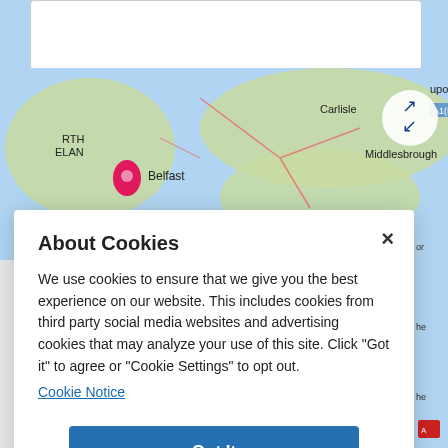[Figure (map): Partial map showing Northern Ireland, Belfast, Carlisle, upon Tyne, Middlesbrough, A1(M) road label, with a pink location pin marker and a fullscreen expand button (double arrow in circle)]
About Cookies
We use cookies to ensure that we give you the best experience on our website. This includes cookies from third party social media websites and advertising cookies that may analyze your use of this site. Click "Got it" to agree or "Cookie Settings" to opt out.
Cookie Notice
Got It
Cookies Settings